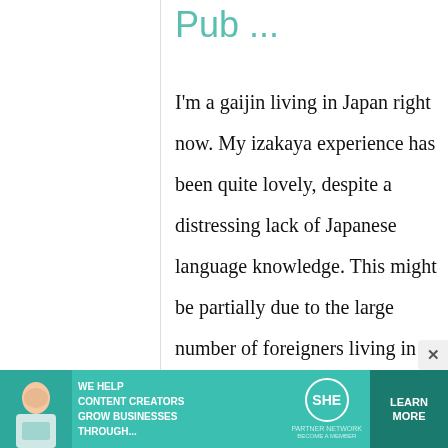Pub ...
I'm a gaijin living in Japan right now. My izakaya experience has been quite lovely, despite a distressing lack of Japanese language knowledge. This might be partially due to the large number of foreigners living in my town and
[Figure (infographic): Advertisement banner for SHE Media Partner Network. Features a woman with a laptop, text 'WE HELP CONTENT CREATORS GROW BUSINESSES THROUGH...', SHE logo, and 'LEARN MORE' button.]